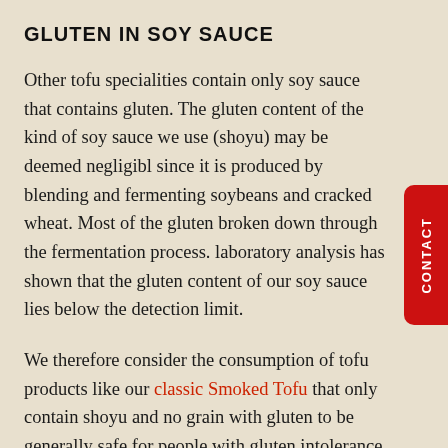GLUTEN IN SOY SAUCE
Other tofu specialities contain only soy sauce that contains gluten. The gluten content of the kind of soy sauce we use (shoyu) may be deemed negligible since it is produced by blending and fermenting soybeans and cracked wheat. Most of the gluten broken down through the fermentation process. laboratory analysis has shown that the gluten content of our soy sauce lies below the detection limit.
We therefore consider the consumption of tofu products like our classic Smoked Tofu that only contain shoyu and no grain with gluten to be generally safe for people with gluten intolerance.